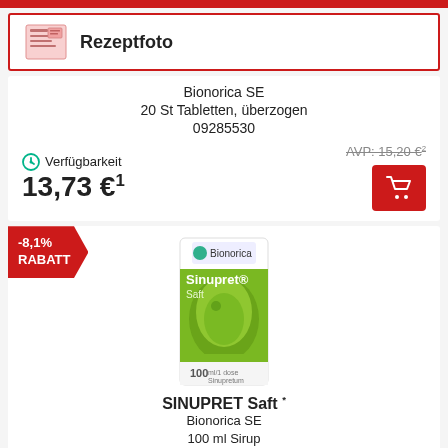[Figure (screenshot): Rezeptfoto section header with prescription icon and red border]
Bionorica SE
20 St Tabletten, überzogen
09285530
Verfügbarkeit  AVP: 15,20 €²  13,73 €¹
[Figure (photo): Sinupret Saft 100ml product box by Bionorica, green and white packaging]
-8,1% RABATT
SINUPRET Saft *
Bionorica SE
100 ml Sirup